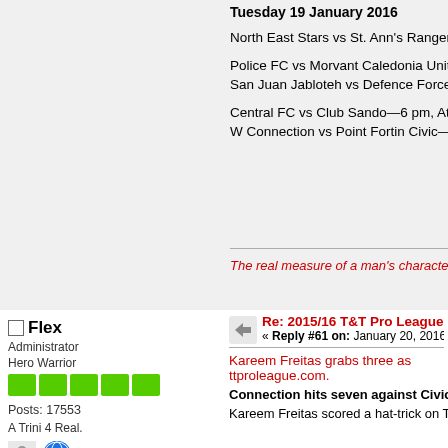Tuesday 19 January 2016
North East Stars vs St. Ann's Rangers—
Police FC vs Morvant Caledonia United—
San Juan Jabloteh vs Defence Force—8
Central FC vs Club Sando—6 pm, Ato B
W Connection vs Point Fortin Civic—8 p
The real measure of a man's character is wh
Flex
Administrator
Hero Warrior
Posts: 17553
A Trini 4 Real.
Re: 2015/16 T&T Pro League Fixt
« Reply #61 on: January 20, 2016, 02:04
Kareem Freitas grabs three as ttproleague.com.
Connection hits seven against Civic a
Kareem Freitas scored a hat-trick on Tue